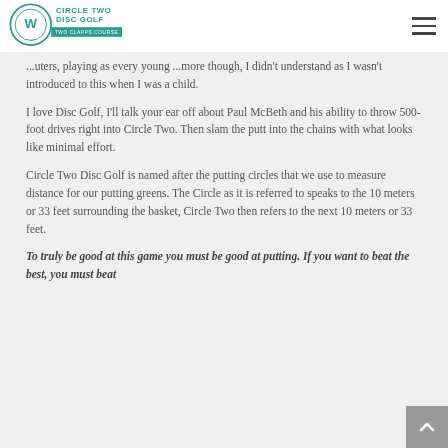Circle Two Disc Golf — Two Clapps Course
...uters, playing as every young ...more though, I didn't understand as I wasn't introduced to this when I was a child.
I love Disc Golf, I'll talk your ear off about Paul McBeth and his ability to throw 500-foot drives right into Circle Two. Then slam the putt into the chains with what looks like minimal effort.
Circle Two Disc Golf is named after the putting circles that we use to measure distance for our putting greens. The Circle as it is referred to speaks to the 10 meters or 33 feet surrounding the basket, Circle Two then refers to the next 10 meters or 33 feet.
To truly be good at this game you must be good at putting. If you want to beat the best, you must beat